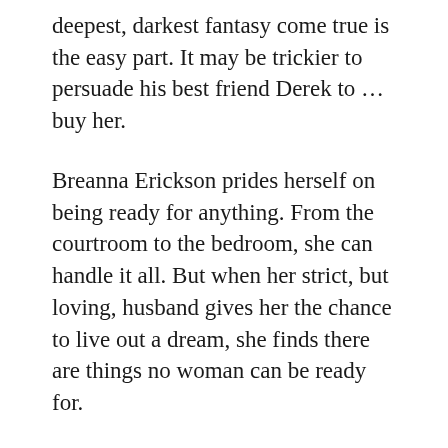deepest, darkest fantasy come true is the easy part. It may be trickier to persuade his best friend Derek to … buy her.
Breanna Erickson prides herself on being ready for anything. From the courtroom to the bedroom, she can handle it all. But when her strict, but loving, husband gives her the chance to live out a dream, she finds there are things no woman can be ready for.
Derek's marriage ended because he buried dark needs that proved incompatible with a vanilla wife. He's buried those needs, those truths, deep down, determined to never let them hurt him again. Being Kurt's best friend